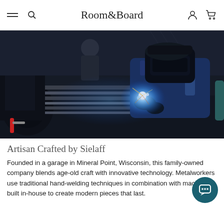Room&Board
[Figure (photo): A metalworker in a dark workshop wearing a welding helmet and blue work jacket, using a welding torch on metal rails/machinery. Bright blue welding arc light is visible. The workshop shows metal machinery and equipment.]
Artisan Crafted by Sielaff
Founded in a garage in Mineral Point, Wisconsin, this family-owned company blends age-old craft with innovative technology. Metalworkers use traditional hand-welding techniques in combination with machinery built in-house to create modern pieces that last.